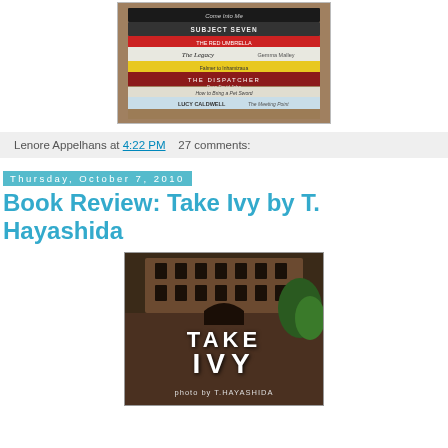[Figure (photo): Stack of books photographed from above/side, showing spines including 'Subject Seven', 'The Red Umbrella', 'The Legacy by Gemma Malley', 'The Dispatcher by Ryan David Jahn', 'Lucy Caldwell The Meeting Point']
Lenore Appelhans at 4:22 PM   27 comments:
Thursday, October 7, 2010
Book Review: Take Ivy by T. Hayashida
[Figure (photo): Book cover of 'Take Ivy' photo by T. Hayashida, showing a Gothic university building with ivy, text reads TAKE IVY photo by T.HAYASHIDA]